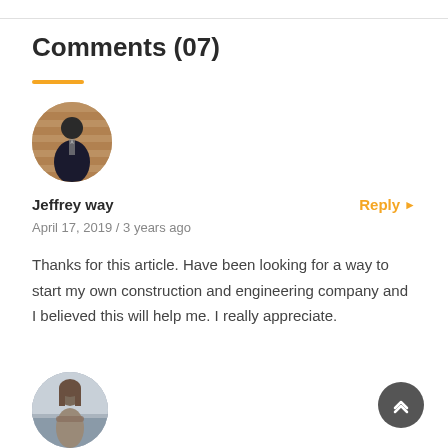Comments (07)
[Figure (photo): Circular avatar photo of a man in a dark suit and tie, posed in front of a wooden wall background]
Jeffrey way
Reply ▶
April 17, 2019 / 3 years ago
Thanks for this article. Have been looking for a way to start my own construction and engineering company and I believed this will help me. I really appreciate.
[Figure (photo): Circular avatar photo of a woman with long brown hair standing outdoors near a beach or waterside area]